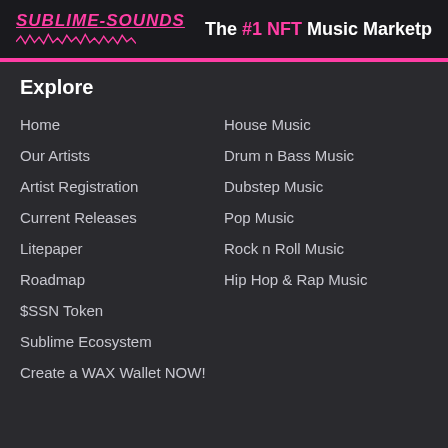SUBLIME-SOUNDS — The #1 NFT Music Marketplace
Explore
Home
House Music
Our Artists
Drum n Bass Music
Artist Registration
Dubstep Music
Current Releases
Pop Music
Litepaper
Rock n Roll Music
Roadmap
Hip Hop & Rap Music
$SSN Token
Sublime Ecosystem
Create a WAX Wallet NOW!